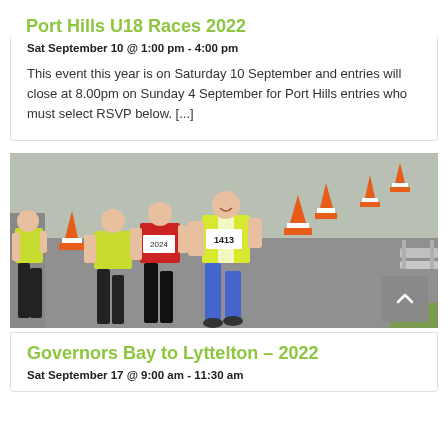Port Hills U18 Races 2022
Sat September 10 @ 1:00 pm - 4:00 pm
This event this year is on Saturday 10 September and entries will close at 8.00pm on Sunday 4 September for Port Hills entries who must select RSVP below. [...]
[Figure (photo): Runners in yellow vests and racing bibs running on a road with orange traffic cones, a smiling runner in the foreground wearing bib number 1413 in blue shorts]
Governors Bay to Lyttelton – 2022
Sat September 17 @ 9:00 am - 11:30 am